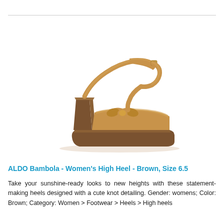[Figure (photo): Brown women's high heel platform sandal (ALDO Bambola) with chunky block heel, platform sole, ankle strap with buckle, and knot toe detailing, shown on white background in side profile view.]
ALDO Bambola - Women's High Heel - Brown, Size 6.5
Take your sunshine-ready looks to new heights with these statement-making heels designed with a cute knot detailing. Gender: womens; Color: Brown; Category: Women > Footwear > Heels > High heels